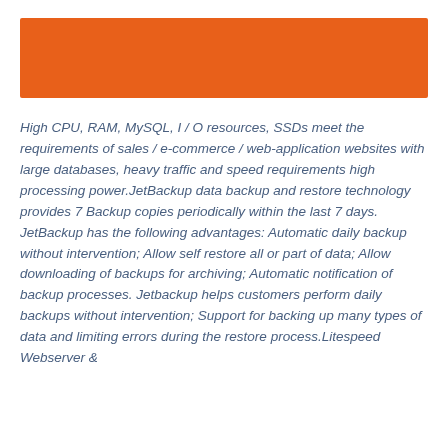[Figure (other): Orange rectangular banner/header bar]
High CPU, RAM, MySQL, I / O resources, SSDs meet the requirements of sales / e-commerce / web-application websites with large databases, heavy traffic and speed requirements high processing power.JetBackup data backup and restore technology provides 7 Backup copies periodically within the last 7 days. JetBackup has the following advantages: Automatic daily backup without intervention; Allow self restore all or part of data; Allow downloading of backups for archiving; Automatic notification of backup processes. Jetbackup helps customers perform daily backups without intervention; Support for backing up many types of data and limiting errors during the restore process.Litespeed Webserver &